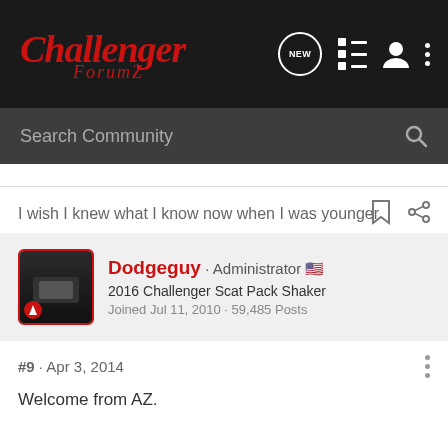Challenger ForumZ
Search Community
I wish I knew what I know now when I was younger
Dodgeguy · Administrator
2016 Challenger Scat Pack Shaker
Joined Jul 11, 2010 · 59,485 Posts
#9 · Apr 3, 2014
Welcome from AZ.